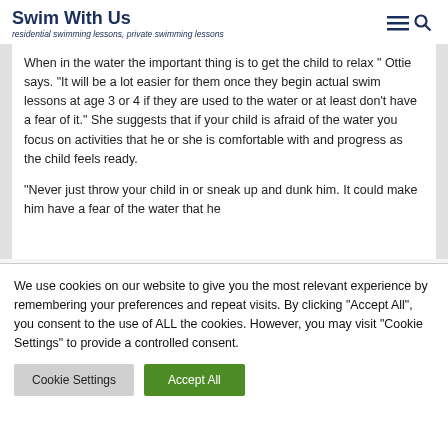Swim With Us
residential swimming lessons, private swimming lessons
When in the water the important thing is to get the child to relax " Ottie says. “It will be a lot easier for them once they begin actual swim lessons at age 3 or 4 if they are used to the water or at least don’t have a fear of it.” She suggests that if your child is afraid of the water you focus on activities that he or she is comfortable with and progress as the child feels ready.
“Never just throw your child in or sneak up and dunk him. It could make him have a fear of the water that he
We use cookies on our website to give you the most relevant experience by remembering your preferences and repeat visits. By clicking “Accept All”, you consent to the use of ALL the cookies. However, you may visit "Cookie Settings" to provide a controlled consent.